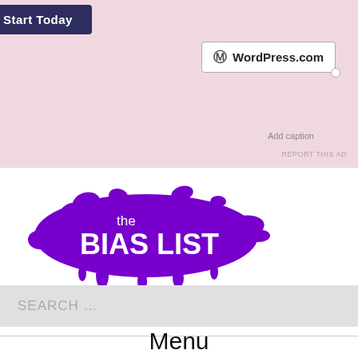[Figure (screenshot): WordPress.com advertisement with pink background, 'Start Today' button, WordPress.com logo in a bordered box with 'Add caption' text and a circle handle, and 'REPORT THIS AD' link.]
[Figure (logo): The Bias List logo — white text 'the BIAS LIST' on a purple paint-splatter background, with tagline 'K-pop reviews and discussion with just a hint of bias...']
K-pop reviews and discussion with just a hint of bias...
SEARCH …
Menu